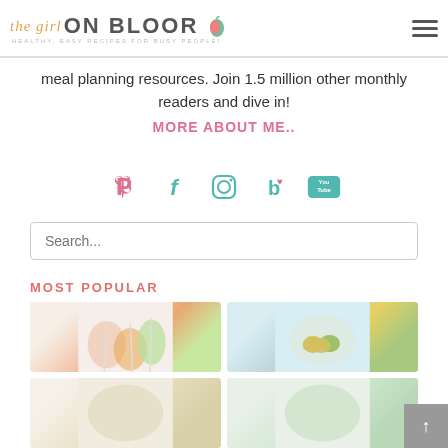[Figure (logo): The Girl On Bloor blog logo with cursive 'the girl' text, bold 'ON BLOOR' text, pear icon, and tagline 'HEALTHY, EASY RECIPES FOR BUSY PEOPLE!']
meal planning resources. Join 1.5 million other monthly readers and dive in!
MORE ABOUT ME..
[Figure (infographic): Social media icons: Pinterest (pink P), Facebook (teal f), Instagram (teal camera), Bloglovin (teal b with heart), YouTube (teal YouTube button)]
[Figure (other): Search input box with placeholder text 'Search...']
MOST POPULAR
[Figure (photo): Photo of colorful smoothies in jars with straws on a marble surface - pink, red/orange, and green smoothies]
[Figure (photo): Photo of egg muffins or mini frittatas on a patterned plate with teal background]
[Figure (photo): Photo of dessert or snack item, partially visible]
[Figure (photo): Photo of food items, partially visible]